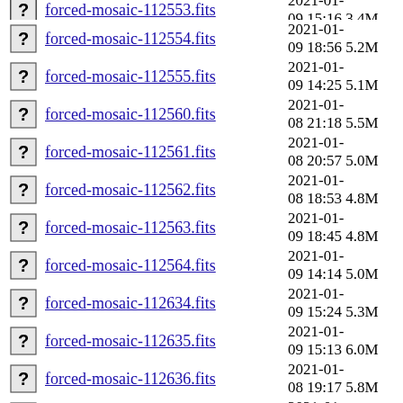forced-mosaic-112553.fits  2021-01-09 15:16  3.4M
forced-mosaic-112554.fits  2021-01-09 18:56  5.2M
forced-mosaic-112555.fits  2021-01-09 14:25  5.1M
forced-mosaic-112560.fits  2021-01-08 21:18  5.5M
forced-mosaic-112561.fits  2021-01-08 20:57  5.0M
forced-mosaic-112562.fits  2021-01-08 18:53  4.8M
forced-mosaic-112563.fits  2021-01-09 18:45  4.8M
forced-mosaic-112564.fits  2021-01-09 14:14  5.0M
forced-mosaic-112634.fits  2021-01-09 15:24  5.3M
forced-mosaic-112635.fits  2021-01-09 15:13  6.0M
forced-mosaic-112636.fits  2021-01-08 19:17  5.8M
forced-mosaic-112638.fits  2021-01-09 18:12  5.1M